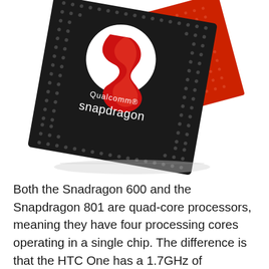[Figure (photo): Qualcomm Snapdragon processor chip — a black square chip rotated at an angle with the Qualcomm Snapdragon logo and red dragon symbol on top, overlapping a red circuit board substrate, shown on a white background with a subtle reflection beneath.]
Both the Snadragon 600 and the Snapdragon 801 are quad-core processors, meaning they have four processing cores operating in a single chip. The difference is that the HTC One has a 1.7GHz of performance, while the Snapdragon